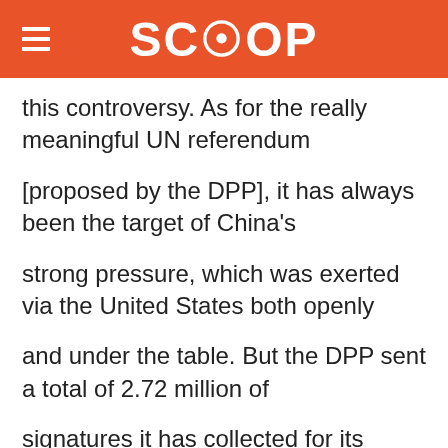SCOOP
this controversy. As for the really meaningful UN referendum

[proposed by the DPP], it has always been the target of China's

strong pressure, which was exerted via the United States both openly

and under the table. But the DPP sent a total of 2.72 million of

signatures it has collected for its referendum to the Central

Election Commission on November 28, and the day was marked as a

watershed, indicating that there is no turning back for the [UN]